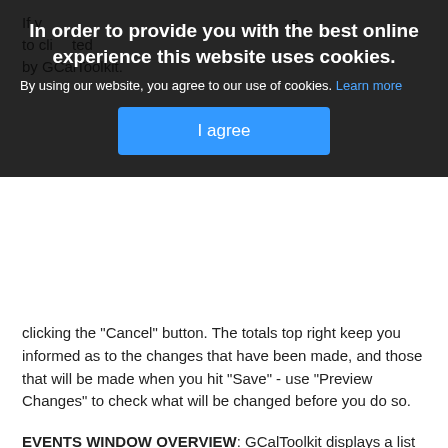[Figure (screenshot): Cookie consent overlay banner with dark semi-transparent background showing bold title 'In order to provide you with the best online experience this website uses cookies.', a message about cookie use with a 'Learn more' link, and a blue 'I agree' button. Behind the overlay, partially obscured text is visible.]
clicking the "Cancel" button. The totals top right keep you informed as to the changes that have been made, and those that will be made when you hit "Save" - use "Preview Changes" to check what will be changed before you do so.
EVENTS WINDOW OVERVIEW: GCalToolkit displays a list of all the events downloaded, including the Title, Summary (Description/Note), Location, Start and End Times/Dates (All Day Events are GREY), whether the event is a repeat (unless you downloaded with the option "Display Repeats from Earlier Events" above). The